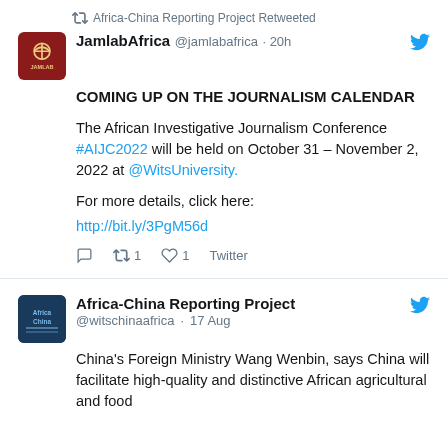Africa-China Reporting Project Retweeted
JamlabAfrica @jamlabafrica · 20h
COMING UP ON THE JOURNALISM CALENDAR

The African Investigative Journalism Conference #AIJC2022 will be held on October 31 – November 2, 2022 at @WitsUniversity.

For more details, click here:
http://bit.ly/3PgM56d
1  1  Twitter
Africa-China Reporting Project @witschinaafrica · 17 Aug
China's Foreign Ministry Wang Wenbin, says China will facilitate high-quality and distinctive African agricultural and food